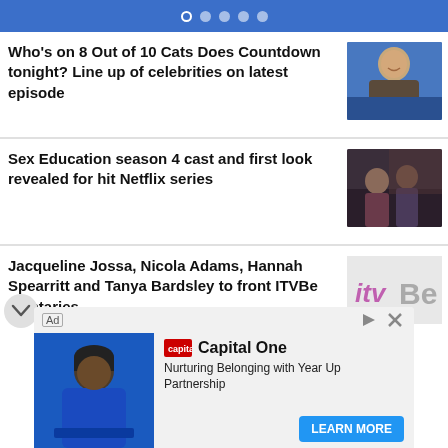Navigation dots (carousel indicator)
Who's on 8 Out of 10 Cats Does Countdown tonight? Line up of celebrities on latest episode
[Figure (photo): Photo of a male TV presenter smiling on a blue studio set]
Sex Education season 4 cast and first look revealed for hit Netflix series
[Figure (photo): Photo of two people in a dark indoor scene from Sex Education]
Jacqueline Jossa, Nicola Adams, Hannah Spearritt and Tanya Bardsley to front ITVBe mentaries
[Figure (logo): ITV Be logo in pink and grey]
[Figure (photo): Advertisement: Capital One - Nurturing Belonging with Year Up Partnership. Photo of person studying in blue hoodie.]